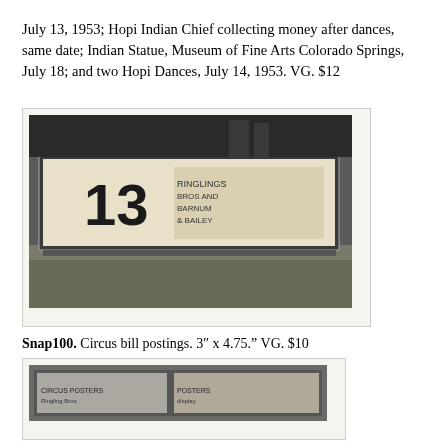July 13, 1953; Hopi Indian Chief collecting money after dances, same date; Indian Statue, Museum of Fine Arts Colorado Springs, July 18; and two Hopi Dances, July 14, 1953. VG. $12
[Figure (photo): Black and white photograph of circus bill postings on a wall or billboard, featuring a large number 13]
Snap100. Circus bill postings. 3" x 4.75." VG. $10
[Figure (photo): Black and white photograph of circus postings displayed in a window]
Snap107. Circus postings in window. 3.25" x 4.5." VG. $10
[Figure (photo): Two small photographs partially visible at the bottom of the page]